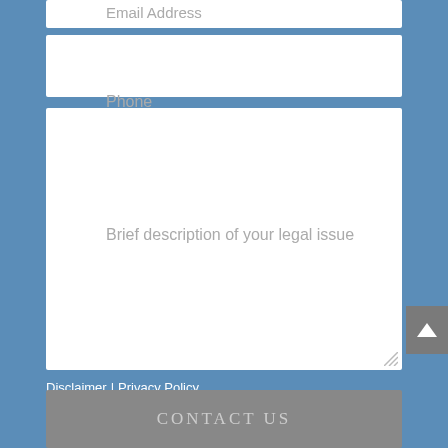[Figure (screenshot): Web contact form with fields for Email Address (partial, cut off at top), Phone, and Brief description of your legal issue (textarea). Below the textarea are links for Disclaimer and Privacy Policy, a checkbox labeled 'I Have Read The Disclaimer *', and a CONTACT US submit button. A scroll-to-top arrow button appears on the right side. The background is steel blue.]
Email Address
Phone
Brief description of your legal issue
Disclaimer | Privacy Policy
I Have Read The Disclaimer *
CONTACT US